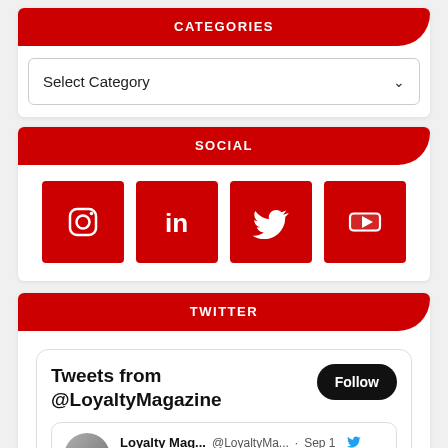CATEGORIES
Select Category
SOCIAL
[Figure (infographic): Row of four red square social media icons: Instagram, LinkedIn, Twitter, YouTube]
TWITTER
Tweets from @LoyaltyMagazine
Follow
Loyalty Mag... @LoyaltyMa... · Sep 1  A Marketer's Guide to Rebooting your Loyalty Programme - mailchi.mp/c4472d3f2aa7/3...